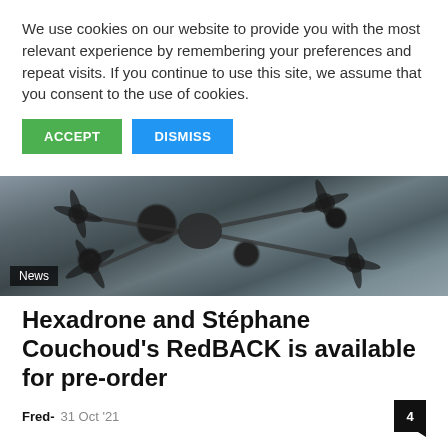We use cookies on our website to provide you with the most relevant experience by remembering your preferences and repeat visits. If you continue to use this site, we assume that you consent to the use of cookies.
ACCEPT
DISMISS
[Figure (photo): Close-up photo of a drone (hexadrone) with multiple black propeller arms resting on a textured grey surface. A 'News' tag is overlaid in the bottom left corner.]
Hexadrone and Stéphane Couchoud's RedBACK is available for pre-order
Fred-  31 Oct '21  4
[Figure (photo): Close-up photo of a finger holding or touching a small dark object with yellow text, against a blurred grey background.]